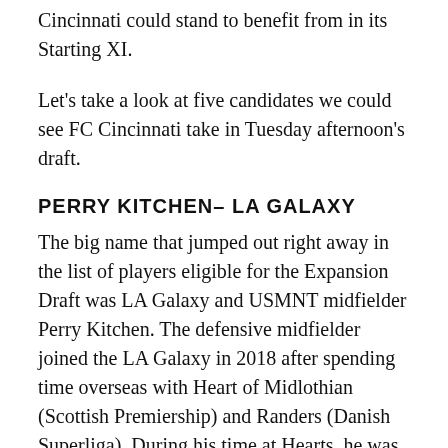Cincinnati could stand to benefit from in its Starting XI.
Let's take a look at five candidates we could see FC Cincinnati take in Tuesday afternoon's draft.
PERRY KITCHEN– LA GALAXY
The big name that jumped out right away in the list of players eligible for the Expansion Draft was LA Galaxy and USMNT midfielder Perry Kitchen. The defensive midfielder joined the LA Galaxy in 2018 after spending time overseas with Heart of Midlothian (Scottish Premiership) and Randers (Danish Superliga). During his time at Hearts, he was named the captain for a spell and had a successful run until a change in management. After his time at Randers, he came back to MLS on a deal that saw the Galaxy trade $100,000 in general allocation money and $200,000 in targeted allocation money. At 26, he clearly has value around the league and is a piece that FC Cincinnati could use to help anchor the spine of the club for years to come.